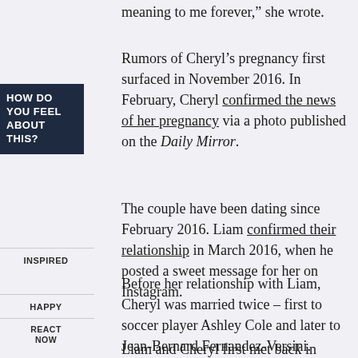meaning to me forever,” she wrote.
Rumors of Cheryl’s pregnancy first surfaced in November 2016. In February, Cheryl confirmed the news of her pregnancy via a photo published on the Daily Mirror.
HOW DO YOU FEEL ABOUT THIS?
INSPIRED
HAPPY
REACT NOW
The couple have been dating since February 2016. Liam confirmed their relationship in March 2016, when he posted a sweet message for her on Instagram.
Before her relationship with Liam, Cheryl was married twice – first to soccer player Ashley Cole and later to Jean-Bernard Fernandez-Versini.
Liam and Cheryl first met back in 2008, when